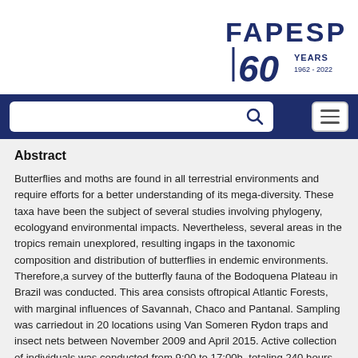[Figure (logo): FAPESP 60 Years 1962-2022 logo in navy blue]
[Figure (screenshot): Navigation bar with search box and hamburger menu button on dark blue background]
Abstract
Butterflies and moths are found in all terrestrial environments and require efforts for a better understanding of its mega-diversity. These taxa have been the subject of several studies involving phylogeny, ecologyand environmental impacts. Nevertheless, several areas in the tropics remain unexplored, resulting ingaps in the taxonomic composition and distribution of butterflies in endemic environments. Therefore,a survey of the butterfly fauna of the Bodoquena Plateau in Brazil was conducted. This area consists oftropical Atlantic Forests, with marginal influences of Savannah, Chaco and Pantanal. Sampling was carriedout in 20 locations using Van Someren Rydon traps and insect nets between November 2009 and April 2015. Active collection of individuals was conducted from 9:00 to 17:00h, totaling 240 hours of sampling effort. In total, we registered 768 individuals belonging to 146 species of 98 genera, six families and 18 subfamilies. Nymphalidae was the richest family (84 species), followed by Hesperiidae (22 species) Riodinidae (14